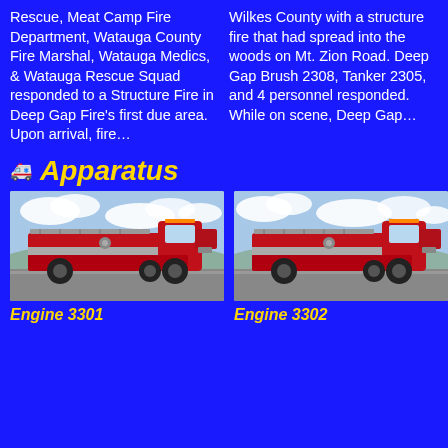Rescue, Meat Camp Fire Department, Watauga County Fire Marshal, Watauga Medics, & Watauga Rescue Squad responded to a Structure Fire in Deep Gap Fire's first due area. Upon arrival, fire...
Wilkes County with a structure fire that had spread into the woods on Mt. Zion Road. Deep Gap Brush 2308, Tanker 2305, and 4 personnel responded. While on scene, Deep Gap...
Apparatus
[Figure (photo): Red fire engine (Engine 3301) parked outdoors with cloudy sky background]
Engine 3301
[Figure (photo): Red fire engine (Engine 3302) parked outdoors with cloudy sky background]
Engine 3302